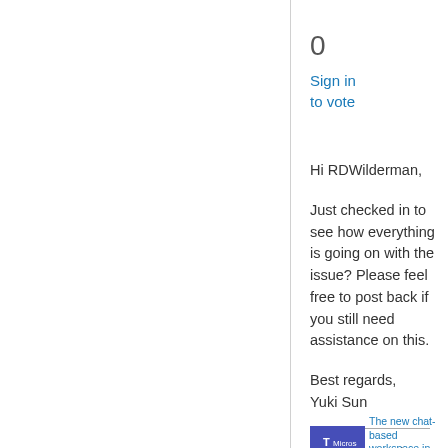0
Sign in
to vote
Hi RDWilderman,
Just checked in to see how everything is going on with the issue? Please feel free to post back if you still need assistance on this.
Best regards,
Yuki Sun
Please remember to mark the replies as answers if they helped. If you have feedback for TechNet Subscriber Support, contact tnsf@microsoft.com.
[Figure (screenshot): Microsoft Teams promotional banner with logo and text 'The new chat-based workspace in O365']